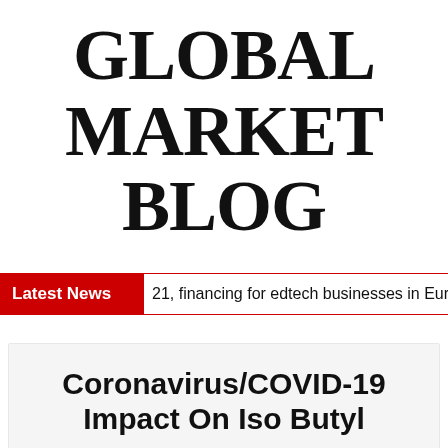GLOBAL MARKET BLOG
Latest News   21, financing for edtech businesses in Eur
Coronavirus/COVID-19 Impact On Iso Butyl